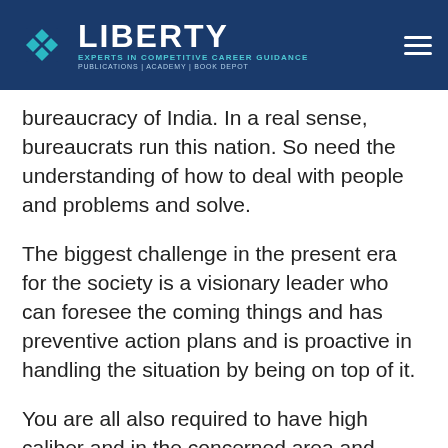LIBERTY — EXPERTS IN COMPETITIVE CAREER GUIDANCE | PUBLICATIONS | ACADEMY | BOOK DEPOT
bureaucracy of India. In a real sense, bureaucrats run this nation. So need the understanding of how to deal with people and problems and solve.
The biggest challenge in the present era for the society is a visionary leader who can foresee the coming things and has preventive action plans and is proactive in handling the situation by being on top of it.
You are all also required to have high caliber and in the concerned area and attain great Endeavour's. We will not only intensify your